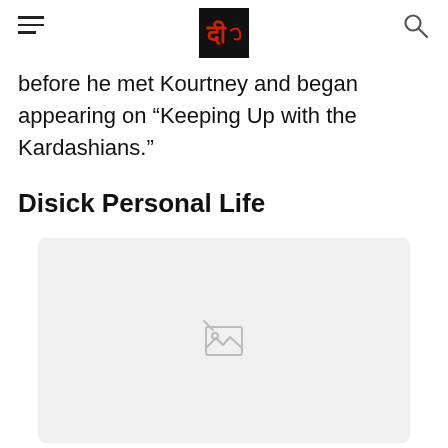[Navigation header with hamburger menu, logo, and search icon]
before he met Kourtney and began appearing on “Keeping Up with the Kardashians.”
Disick Personal Life
[Figure (photo): Broken/loading image placeholder with a light gray background and a broken image icon in the center]